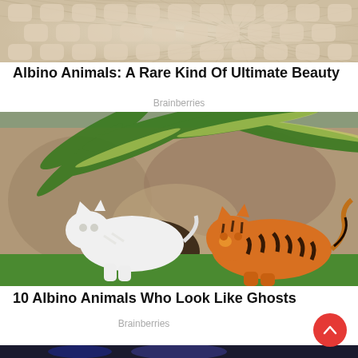[Figure (photo): Close-up photo of bumpy pale/cream textured surface resembling albino animal skin]
Albino Animals: A Rare Kind Of Ultimate Beauty
Brainberries
[Figure (photo): Photo of a white albino tiger and an orange-striped tiger standing together on grass in a zoo enclosure with rock wall and palm fronds background]
10 Albino Animals Who Look Like Ghosts
Brainberries
[Figure (photo): Partial photo visible at the bottom of the page, dark with colorful lights]